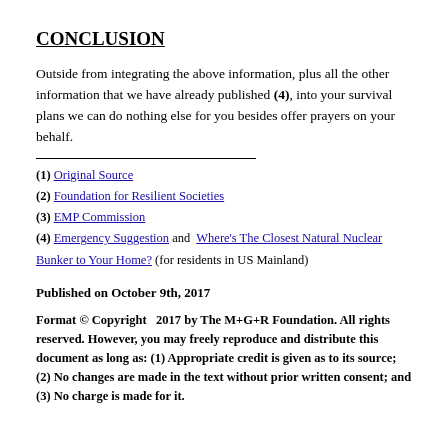CONCLUSION
Outside from integrating the above information, plus all the other information that we have already published (4), into your survival plans we can do nothing else for you besides offer prayers on your behalf.
(1) Original Source
(2) Foundation for Resilient Societies
(3) EMP Commission
(4) Emergency Suggestion and Where's The Closest Natural Nuclear Bunker to Your Home? (for residents in US Mainland)
Published on October 9th, 2017
Format © Copyright   2017 by The M+G+R Foundation. All rights reserved. However, you may freely reproduce and distribute this document as long as: (1) Appropriate credit is given as to its source; (2) No changes are made in the text without prior written consent; and (3) No charge is made for it.